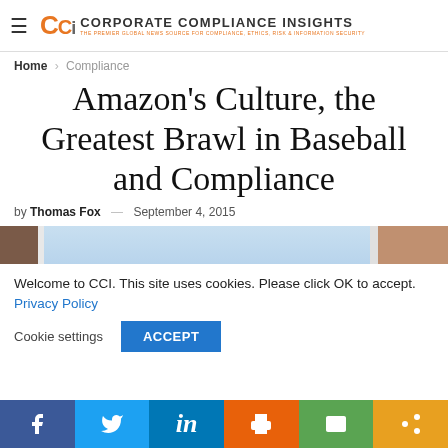Corporate Compliance Insights — THE PREMIER GLOBAL NEWS SOURCE FOR COMPLIANCE, ETHICS, RISK & INFORMATION SECURITY
Home › Compliance
Amazon's Culture, the Greatest Brawl in Baseball and Compliance
by Thomas Fox — September 4, 2015
[Figure (photo): Cropped photo showing a baseball or sports-related scene with blue sky and partial figure in white shirt]
Welcome to CCI. This site uses cookies. Please click OK to accept. Privacy Policy
Cookie settings   ACCEPT